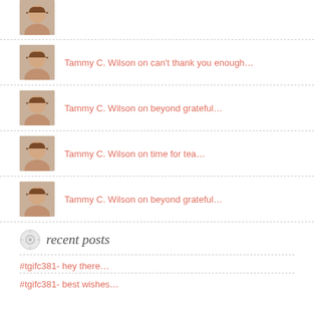[Figure (photo): Partial avatar of Tammy C. Wilson at top of page]
Tammy C. Wilson on can't thank you enough...
Tammy C. Wilson on beyond grateful...
Tammy C. Wilson on time for tea...
Tammy C. Wilson on beyond grateful...
recent posts
#tgifc381- hey there...
#tgifc381- best wishes...